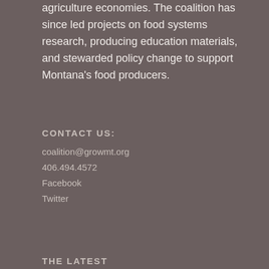agriculture economies. The coalition has since led projects on food systems research, producing education materials, and stewarded policy change to support Montana’s food producers.
CONTACT US:
coalition@growmt.org
406.494.4572
Facebook
Twitter
THE LATEST